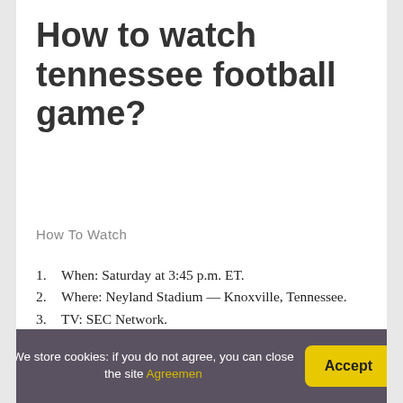How to watch tennessee football game?
How To Watch
When: Saturday at 3:45 p.m. ET.
Where: Neyland Stadium — Knoxville, Tennessee.
TV: SEC Network.
Online streaming: fuboTV (Try for free. Regional restrictions may apply.)
Follow: CBS Sports App.
Ticket Cost: $30.45
We store cookies: if you do not agree, you can close the site Agreemen